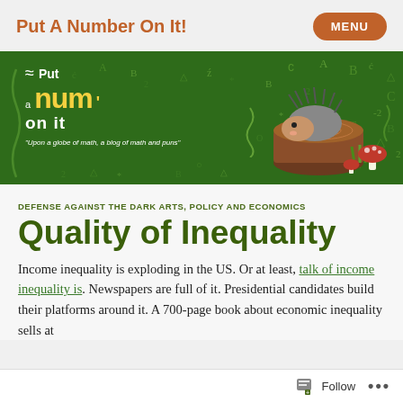Put A Number On It!
[Figure (illustration): Green banner with 'Put A Number On It!' logo in white and yellow text, scattered math symbols, and a cartoon hedgehog on a log with a mushroom. Tagline: 'Upon a globe of math, a blog of math and puns']
DEFENSE AGAINST THE DARK ARTS, POLICY AND ECONOMICS
Quality of Inequality
Income inequality is exploding in the US. Or at least, talk of income inequality is. Newspapers are full of it. Presidential candidates build their platforms around it. A 700-page book about economic inequality sells at
Follow ...